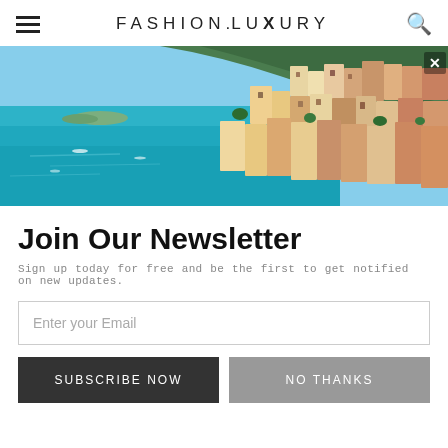FASHION.LUXURY
[Figure (photo): Aerial view of Positano, Italy — colorful buildings cascading down a steep hillside to the turquoise Amalfi Coast sea]
Join Our Newsletter
Sign up today for free and be the first to get notified on new updates.
Enter your Email
SUBSCRIBE NOW
NO THANKS